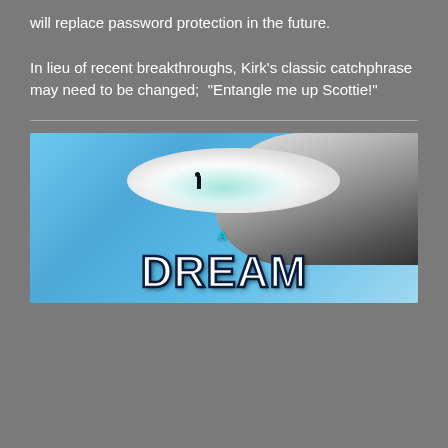will replace password protection in the future.
In lieu of recent breakthroughs, Kirk's classic catchphrase may need to be changed;  “Entangle me up Scottie!”
[Figure (illustration): Book cover illustration showing a blue sky with white clouds, a small dark silhouette of a figure, and large bold text reading 'A DREAM' with teal/white lettering outlined in dark navy.]